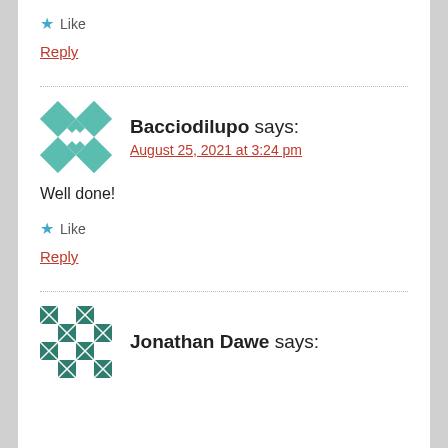★ Like
Reply
Bacciodilupo says:
August 25, 2021 at 3:24 pm
Well done!
★ Like
Reply
Jonathan Dawe says: